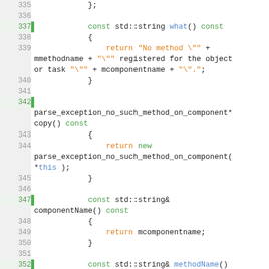[Figure (screenshot): Source code listing in C++ showing lines 335–359 of a file. The code defines methods of a parse_exception_no_such_method_on_component class (what(), copy(), componentName(), methodName()) and begins a new class RTT_SCRIPTING_EXPORT parse_exception_wrong_number_of_arguments inheriting from fatal_semantic_parse_exception. Syntax highlighting uses green for keywords, orange for string literals and 'return', blue for identifiers.]